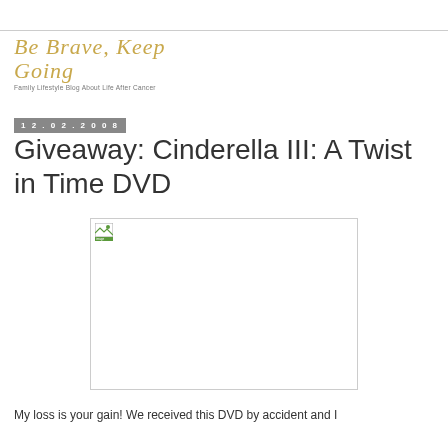Be Brave, Keep Going — Family Lifestyle Blog About Life After Cancer
12.02.2008
Giveaway: Cinderella III: A Twist in Time DVD
[Figure (photo): Broken image placeholder (image failed to load) in a rectangular bordered box]
My loss is your gain! We received this DVD by accident and I